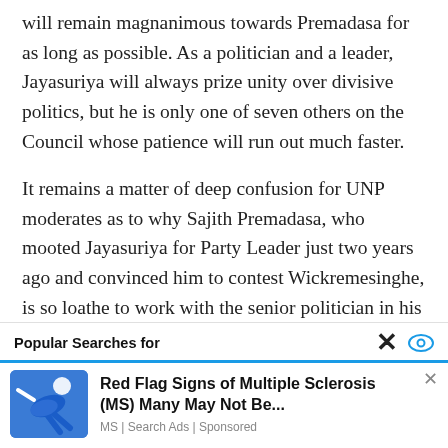will remain magnanimous towards Premadasa for as long as possible. As a politician and a leader, Jayasuriya will always prize unity over divisive politics, but he is only one of seven others on the Council whose patience will run out much faster.
It remains a matter of deep confusion for UNP moderates as to why Sajith Premadasa, who mooted Jayasuriya for Party Leader just two years ago and convinced him to contest Wickremesinghe, is so loathe to work with the senior politician in his new role. With the
Popular Searches for
[Figure (illustration): Advertisement banner: Red Flag Signs of Multiple Sclerosis (MS) Many May Not Be... with an illustration of a person and MS | Search Ads | Sponsored label]